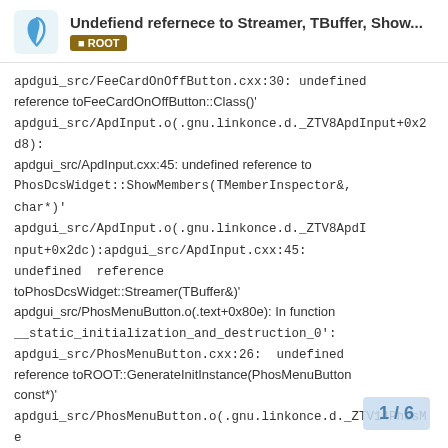Undefiend refernece to Streamer, TBuffer, Show... ROOT
apdgui_src/FeeCardOnOffButton.cxx:30: undefined reference toFeeCardOnOffButton::Class()' apdgui_src/ApdInput.o(.gnu.linkonce.d._ZTV8ApdInput+0x2d8): apdgui_src/ApdInput.cxx:45: undefined reference to PhosDcsWidget::ShowMembers(TMemberInspector&, char*)' apdgui_src/ApdInput.o(.gnu.linkonce.d._ZTV8ApdInput+0x2dc):apdgui_src/ApdInput.cxx:45: undefined reference toPhosDcsWidget::Streamer(TBuffer&)' apdgui_src/PhosMenuButton.o(.text+0x80e): In function __static_initialization_and_destruction_0': apdgui_src/PhosMenuButton.cxx:26: undefined reference toROOT::GenerateInitInstance(PhosMenuButton const*)' apdgui_src/PhosMenuButton.o(.gnu.linkonce.d._ZTV14PhosMenuButton+0xe4):apdgui_src/PhosMenuBut reference to
1 / 6